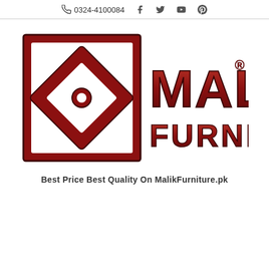0324-4100084
[Figure (logo): Malik Furniture logo with dark red square bracket icon and bold MALIK FURNITURE text in dark red with metallic styling]
Best Price Best Quality On MalikFurniture.pk